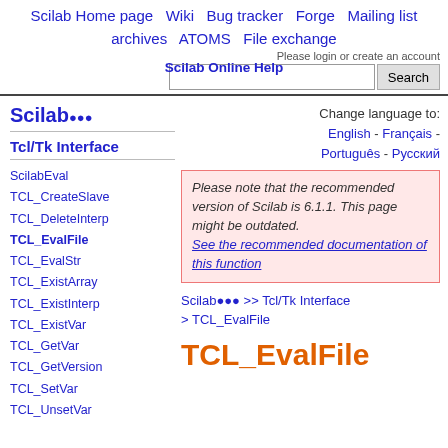Scilab Home page  Wiki  Bug tracker  Forge  Mailing list archives  ATOMS  File exchange
Please login or create an account
Scilab Online Help
Search
Change language to: English - Français - Português - Русский
Scilab 🔴🔵🟡
Tcl/Tk Interface
ScilabEval
TCL_CreateSlave
TCL_DeleteInterp
TCL_EvalFile
TCL_EvalStr
TCL_ExistArray
TCL_ExistInterp
TCL_ExistVar
TCL_GetVar
TCL_GetVersion
TCL_SetVar
TCL_UnsetVar
Please note that the recommended version of Scilab is 6.1.1. This page might be outdated. See the recommended documentation of this function
Scilab 🔴🔵🟡 >> Tcl/Tk Interface > TCL_EvalFile
TCL_EvalFile